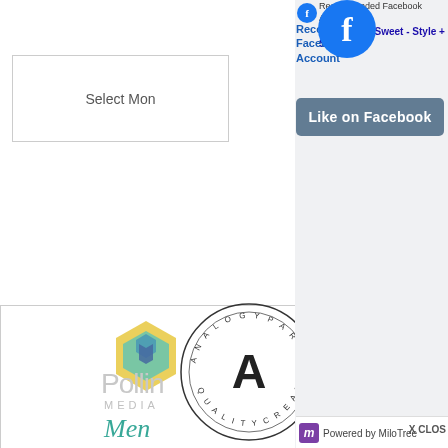[Figure (screenshot): Facebook 'Recommended Facebook Account' popup overlay showing 'My Kind Of Sweet - Style + S' page name, Facebook logo icon, 'Like on Facebook' button in blue-grey, 'Powered by MiloTree' footer bar with purple m icon, and 'X CLOSE' button. Background shows partial website sidebar with 'Select Mom' text widget, Pollinate Media logo with hexagonal icon, 'Men' in teal script, CLEVER. logo text, up-arrow navigation button, and Analogy Partner Quality Creator circular badge.]